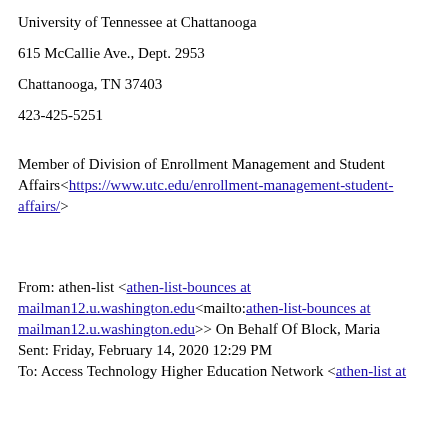University of Tennessee at Chattanooga
615 McCallie Ave., Dept. 2953
Chattanooga, TN 37403
423-425-5251
Member of Division of Enrollment Management and Student Affairs<https://www.utc.edu/enrollment-management-student-affairs/>
From: athen-list <athen-list-bounces at mailman12.u.washington.edu<mailto:athen-list-bounces at mailman12.u.washington.edu>> On Behalf Of Block, Maria
Sent: Friday, February 14, 2020 12:29 PM
To: Access Technology Higher Education Network <athen-list at